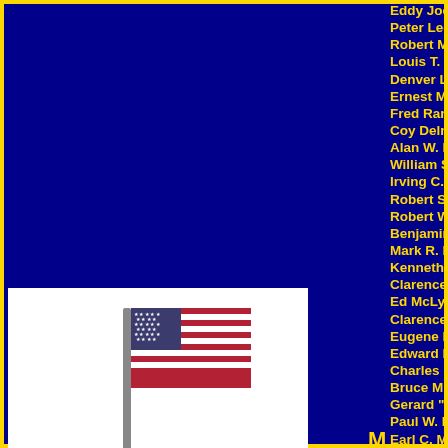[Figure (illustration): American flag on a pole against white background]
Eddy Joe Mascitto
Peter Leo Mateika
Robert Maufroy
Louis T. Maumus
Denver Lee Mayer
Ernest Mayfield
Fred Ranson McAlister, Jr
Coy Delman McCarty
Alan W. McCauley
William Samuel McComas
Irving C. “Bill” McCormick
Robert S. McCubbins
Robert W. McCulley
Benjamin F. “Benny” McDonald, Jr
Mark R. McGahen
Kenneth A. McGowan
Clarence M McLane
Ed McLyman
Clarence L. McMaster
Eugene McRoberts
Edward F. McTamney
Charles "Charlie" Meeker
Bruce M. Merical
Gerard "Jerry" Mezzacapo
Paul W. Middents
Earl C. Million
Ray Minor
George Mitchell